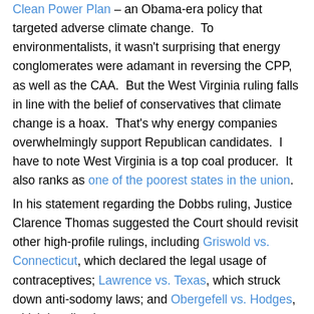Clean Power Plan – an Obama-era policy that targeted adverse climate change. To environmentalists, it wasn't surprising that energy conglomerates were adamant in reversing the CPP, as well as the CAA. But the West Virginia ruling falls in line with the belief of conservatives that climate change is a hoax. That's why energy companies overwhelmingly support Republican candidates. I have to note West Virginia is a top coal producer. It also ranks as one of the poorest states in the union.
In his statement regarding the Dobbs ruling, Justice Clarence Thomas suggested the Court should revisit other high-profile rulings, including Griswold vs. Connecticut, which declared the legal usage of contraceptives; Lawrence vs. Texas, which struck down anti-sodomy laws; and Obergefell vs. Hodges, which legalized same-sex